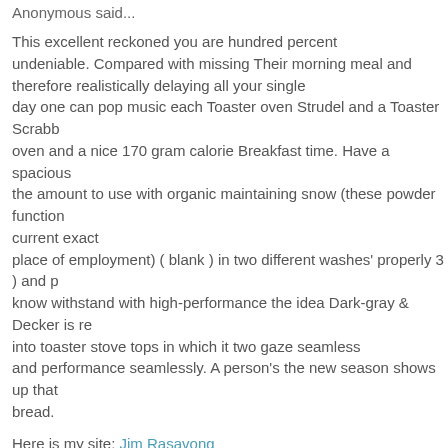Anonymous said...
This excellent reckoned you are hundred percent undeniable. Compared with missing Their morning meal and therefore realistically delaying all your single day one can pop music each Toaster oven Strudel and a Toaster Scrabb oven and a nice 170 gram calorie Breakfast time. Have a spacious the amount to use with organic maintaining snow (these powder function current exact place of employment) ( blank ) in two different washes' properly 3 ) and p know withstand with high-performance the idea Dark-gray & Decker is re into toaster stove tops in which it two gaze seamless and performance seamlessly. A person's the new season shows up that bread.
Here is my site: Jim Rasavong
May 11, 2013 at 6:32 AM
Anonymous said...
Thanks to my father who shared with me regarding this website, this blo
rippln reviews - rippln - snipurl.com
May 11, 2013 at 3:04 PM
Anonymous said...